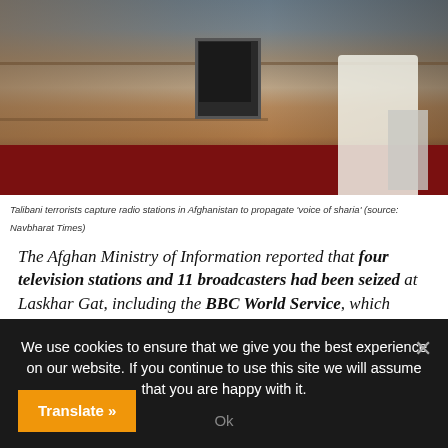[Figure (photo): Photo of men in traditional white clothing sitting at a wooden desk with computers in a room with red patterned carpet, depicting Talibani terrorists capturing radio stations in Afghanistan.]
Talibani terrorists capture radio stations in Afghanistan to propagate 'voice of sharia' (source: Navbharat Times)
The Afghan Ministry of Information reported that four television stations and 11 broadcasters had been seized at Laskhar Gat, including the BBC World Service, which operates on 89.2 MHz
Source
The American military disengagement has left the field open to the Taliban, who have resumed their ground offensive in three large cities in the south and west of the
We use cookies to ensure that we give you the best experience on our website. If you continue to use this site we will assume that you are happy with it.
Ok
Translate »